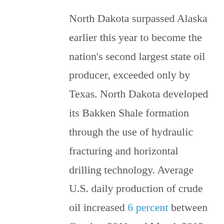North Dakota surpassed Alaska earlier this year to become the nation's second largest state oil producer, exceeded only by Texas. North Dakota developed its Bakken Shale formation through the use of hydraulic fracturing and horizontal drilling technology. Average U.S. daily production of crude oil increased 6 percent between October 2011 and March 2012 spurred by production of shale oil from the Bakken and the Eagle Ford shale formation in Texas. In November 2011, U.S. oil production was over 6 million barrels per day for the first